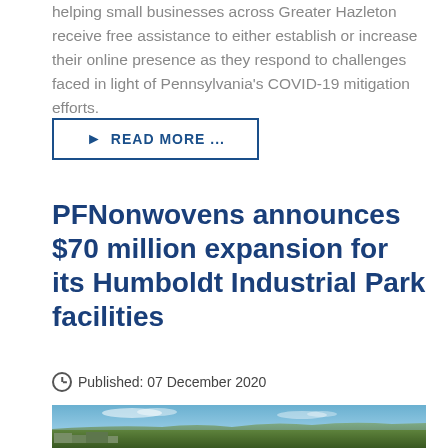helping small businesses across Greater Hazleton receive free assistance to either establish or increase their online presence as they respond to challenges faced in light of Pennsylvania's COVID-19 mitigation efforts.
READ MORE ...
PFNonwovens announces $70 million expansion for its Humboldt Industrial Park facilities
Published: 07 December 2020
[Figure (photo): Aerial photograph of Humboldt Industrial Park facilities surrounded by forested landscape with buildings visible on the left.]